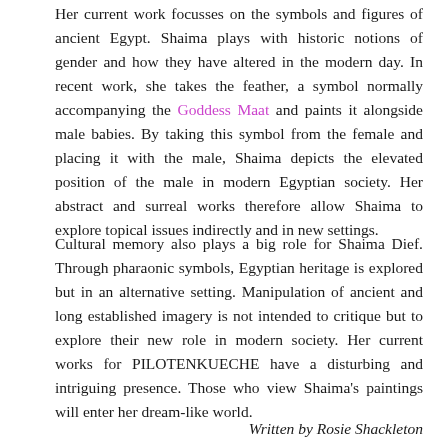Her current work focusses on the symbols and figures of ancient Egypt. Shaima plays with historic notions of gender and how they have altered in the modern day. In recent work, she takes the feather, a symbol normally accompanying the Goddess Maat and paints it alongside male babies. By taking this symbol from the female and placing it with the male, Shaima depicts the elevated position of the male in modern Egyptian society. Her abstract and surreal works therefore allow Shaima to explore topical issues indirectly and in new settings.
Cultural memory also plays a big role for Shaima Dief. Through pharaonic symbols, Egyptian heritage is explored but in an alternative setting. Manipulation of ancient and long established imagery is not intended to critique but to explore their new role in modern society. Her current works for PILOTENKUECHE have a disturbing and intriguing presence. Those who view Shaima's paintings will enter her dream-like world.
Written by Rosie Shackleton